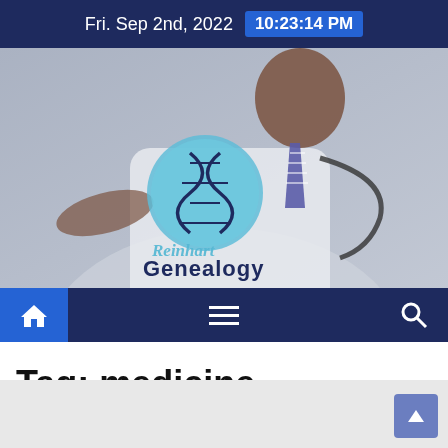Fri. Sep 2nd, 2022  10:23:14 PM
[Figure (photo): Hero banner showing a doctor in white coat with stethoscope, gesturing with hand, overlaid with Reinhart Genealogy logo (DNA helix icon in blue circle) and site name]
[Figure (other): Navigation bar with home icon (house), hamburger menu, and search (magnifying glass) icon on dark navy background]
Tag: medicine